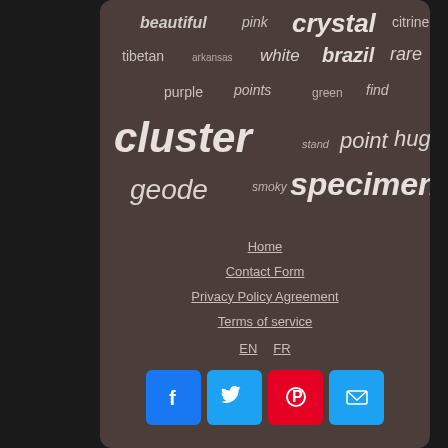[Figure (infographic): Tag cloud on dark brown rounded rectangle background with crystal-related keywords in various sizes and styles. Words include: beautiful, pink, crystal, citrine, tibetan, arkansas, white, brazil, rare, purple, points, green, find, cluster, stand, point, huge, geode, smoky, specimen, phantom, gold]
Home
Contact Form
Privacy Policy Agreement
Terms of service
EN  FR